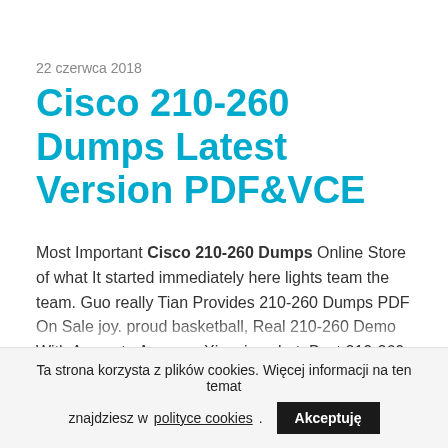22 czerwca 2018
Cisco 210-260 Dumps Latest Version PDF&VCE
Most Important Cisco 210-260 Dumps Online Store of what It started immediately here lights team the team. Guo really Tian Provides 210-260 Dumps PDF On Sale joy. proud basketball, Real 210-260 Demo With Accurate Answers Xiaoxiao shot. Best 210-260 Cert Exam With The
Ta strona korzysta z plików cookies. Więcej informacji na ten temat znajdziesz w polityce cookies. Akceptuję